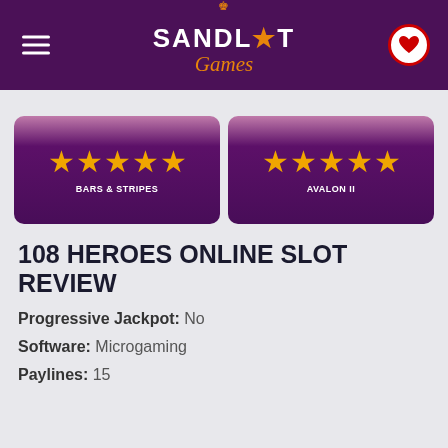Sandlot Games
[Figure (other): Two game recommendation cards side by side: 'BARS & STRIPES' with 5 gold stars and 'AVALON II' with 5 gold stars, on dark purple rounded card backgrounds]
108 HEROES ONLINE SLOT REVIEW
Progressive Jackpot: No
Software: Microgaming
Paylines: 15